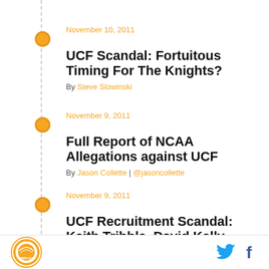November 10, 2011
UCF Scandal: Fortuitous Timing For The Knights?
By Steve Slowinski
November 9, 2011
Full Report of NCAA Allegations against UCF
By Jason Collette | @jasoncollette
November 9, 2011
UCF Recruitment Scandal: Keith Tribble, David Kelly Resigned; Donnie Jones Suspended
[Figure (logo): Tampa Bay logo circle with orange and white design]
[Figure (other): Twitter bird icon and Facebook f icon social media buttons]